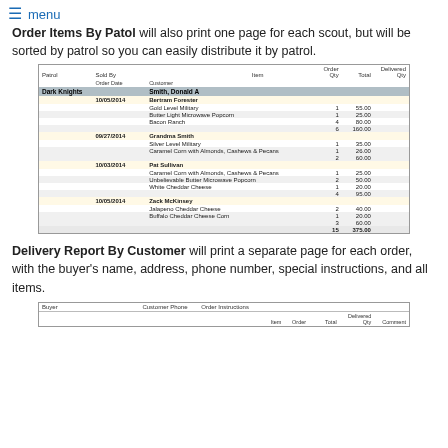≡ menu
Order Items By Patol will also print one page for each scout, but will be sorted by patrol so you can easily distribute it by patrol.
[Figure (table-as-image): Order Items By Patrol sample report showing Dark Knights patrol, scout Smith Donald A, with orders from Bertram Forester, Grandma Smith, Pat Sullivan, and Zack McKinsey with items, quantities, and totals.]
Delivery Report By Customer will print a separate page for each order, with the buyer's name, address, phone number, special instructions, and all items.
[Figure (table-as-image): Delivery Report By Customer sample report header showing Buyer, Customer Phone, Order Instructions, Item, Order, Total, Delivered Qty, Comment columns.]